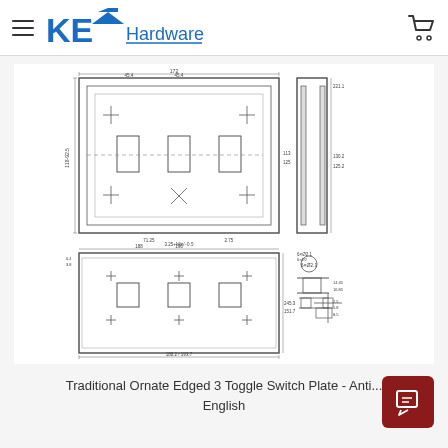KE Hardware
[Figure (engineering-diagram): Technical engineering drawing of a 3 Toggle Switch Plate showing top view, side view, front view, and detail view with dimensions. Dimensions include 172mm width, 188.2mm, 193.7mm, 150.7mm, 196.3mm height, and various other measurements for mounting holes and toggle cutouts.]
Traditional Ornate Edged 3 Toggle Switch Plate - Anti... English